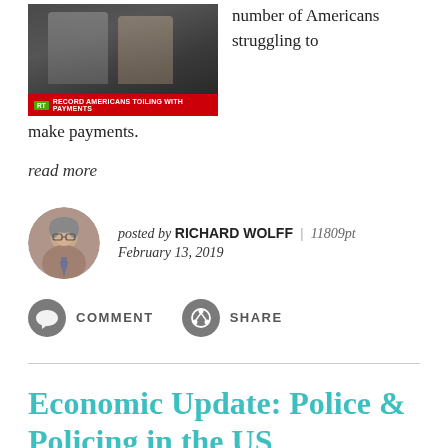[Figure (screenshot): TV screenshot showing two men in suits with a red news banner reading 'RECORD AMERICANS TOILING WITH PAYMENTS' and an RT logo badge in green]
number of Americans struggling to make payments.
read more
[Figure (photo): Circular avatar photo of Richard Wolff, an older man]
posted by RICHARD WOLFF | 11809pt
February 13, 2019
COMMENT   SHARE
Economic Update: Police & Policing in the US